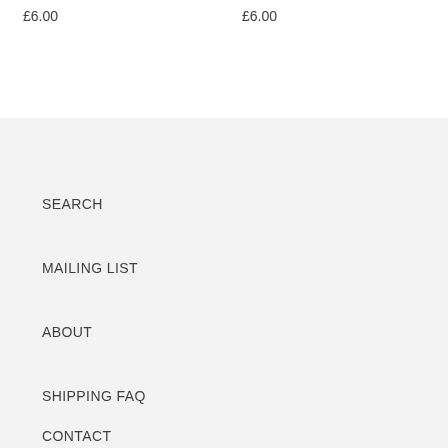£6.00
£6.00
SEARCH
MAILING LIST
ABOUT
SHIPPING FAQ
CONTACT